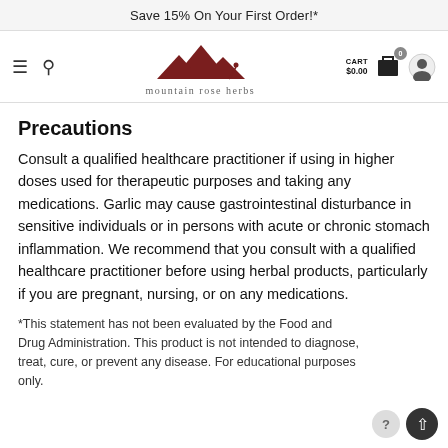Save 15% On Your First Order!*
[Figure (logo): Mountain Rose Herbs logo with mountain peaks SVG and text]
Precautions
Consult a qualified healthcare practitioner if using in higher doses used for therapeutic purposes and taking any medications. Garlic may cause gastrointestinal disturbance in sensitive individuals or in persons with acute or chronic stomach inflammation. We recommend that you consult with a qualified healthcare practitioner before using herbal products, particularly if you are pregnant, nursing, or on any medications.
*This statement has not been evaluated by the Food and Drug Administration. This product is not intended to diagnose, treat, cure, or prevent any disease. For educational purposes only.